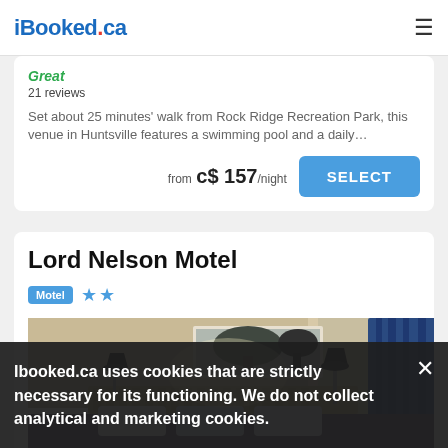iBooked.ca
Great
21 reviews
Set about 25 minutes' walk from Rock Ridge Recreation Park, this venue in Huntsville features a swimming pool and a daily…
from  c$ 157/night
Lord Nelson Motel
Motel  ★★
[Figure (photo): Hotel room interior with bed, headboard, lamps, artwork on wall, and blue curtains]
Ibooked.ca uses cookies that are strictly necessary for its functioning. We do not collect analytical and marketing cookies.